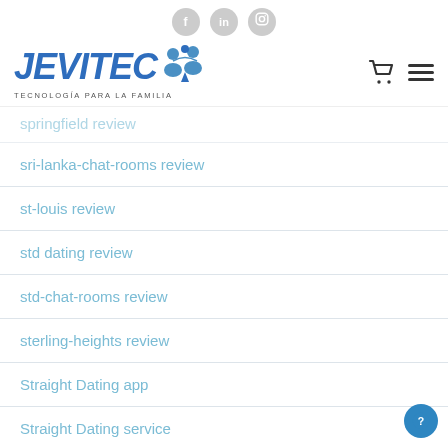[Figure (logo): JEVITEC logo with social icons (Facebook, LinkedIn, Instagram) at top, shopping cart and hamburger menu icons at right]
springfield review (partially visible, cut off at top)
sri-lanka-chat-rooms review
st-louis review
std dating review
std-chat-rooms review
sterling-heights review
Straight Dating app
Straight Dating service
Straight Dating support